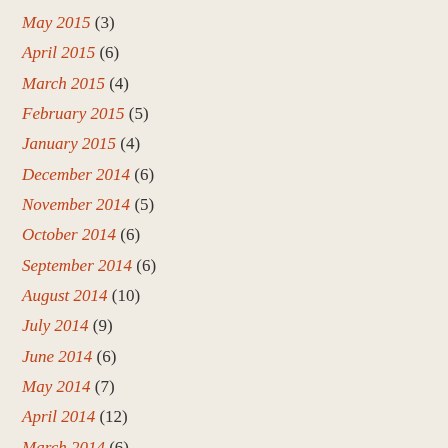May 2015 (3)
April 2015 (6)
March 2015 (4)
February 2015 (5)
January 2015 (4)
December 2014 (6)
November 2014 (5)
October 2014 (6)
September 2014 (6)
August 2014 (10)
July 2014 (9)
June 2014 (6)
May 2014 (7)
April 2014 (12)
March 2014 (6)